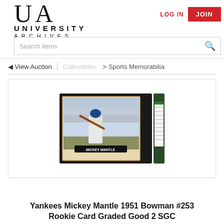UA UNIVERSITY ARCHIVES
LOG IN | JOIN
Search items
◄ View Auction | Collectibles > Sports Memorabilia
[Figure (photo): A graded baseball card in a slab — 1951 Bowman Mickey Mantle #253, graded Good 2 by SGC. The card shows Mickey Mantle in a batting swing pose wearing a Yankees uniform. The grading slab has a green label on the right side.]
Yankees Mickey Mantle 1951 Bowman #253 Rookie Card Graded Good 2 SGC